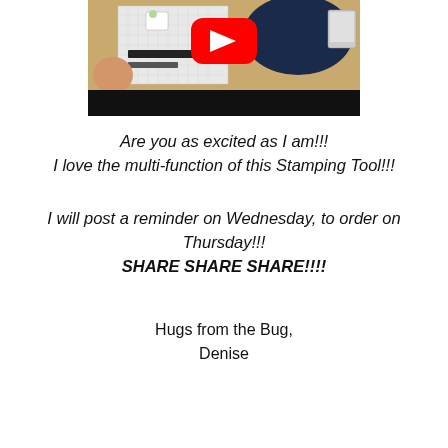[Figure (screenshot): YouTube video thumbnail showing a person's hand on a stamping tool/grid board with a YouTube play button overlay, on a wooden desk background.]
Are you as excited as I am!!!
I love the multi-function of this Stamping Tool!!!
I will post a reminder on Wednesday, to order on Thursday!!!
SHARE SHARE SHARE!!!!
Hugs from the Bug,
Denise